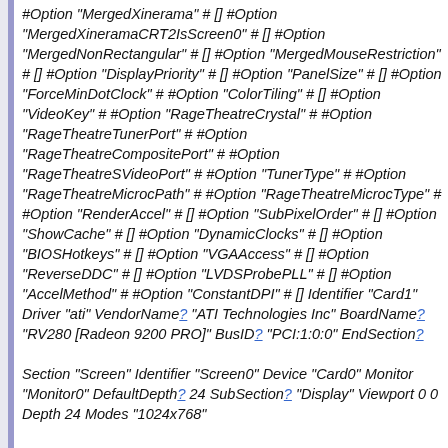#Option "MergedXinerama" # [] #Option "MergedXineramaCRT2IsScreen0" # [] #Option "MergedNonRectangular" # [] #Option "MergedMouseRestriction" # [] #Option "DisplayPriority" # [] #Option "PanelSize" # [] #Option "ForceMinDotClock" # #Option "ColorTiling" # [] #Option "VideoKey" # #Option "RageTheatreCrystal" # #Option "RageTheatreTunerPort" # #Option "RageTheatreCompositePort" # #Option "RageTheatreSVideoPort" # #Option "TunerType" # #Option "RageTheatreMicrocPath" # #Option "RageTheatreMicrocType" # #Option "RenderAccel" # [] #Option "SubPixelOrder" # [] #Option "ShowCache" # [] #Option "DynamicClocks" # [] #Option "BIOSHotkeys" # [] #Option "VGAAccess" # [] #Option "ReverseDDC" # [] #Option "LVDSProbePLL" # [] #Option "AccelMethod" # #Option "ConstantDPI" # [] Identifier "Card1" Driver "ati" VendorName? "ATI Technologies Inc" BoardName? "RV280 [Radeon 9200 PRO]" BusID? "PCI:1:0:0" EndSection?
Section "Screen" Identifier "Screen0" Device "Card0" Monitor "Monitor0" DefaultDepth? 24 SubSection? "Display" Viewport 0 0 Depth 24 Modes "1024x768"